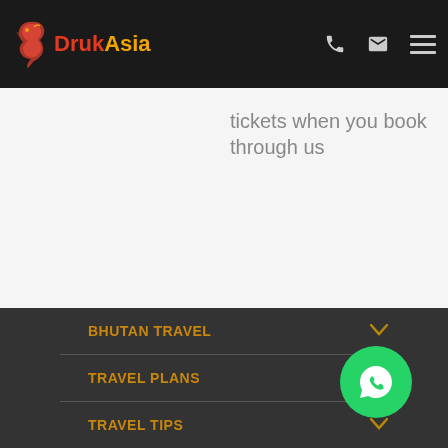DrukAsia navigation bar with phone, email, and menu icons
tickets when you book through us
BHUTAN TRAVEL
TRAVEL PLANS
TRAVEL TIPS
DRUK ASIA